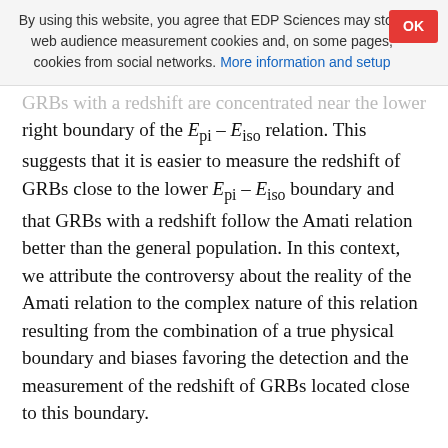By using this website, you agree that EDP Sciences may store web audience measurement cookies and, on some pages, cookies from social networks. More information and setup
GRBs with a redshift are concentrated near the lower right boundary of the E_pi – E_iso relation. This suggests that it is easier to measure the redshift of GRBs close to the lower E_pi – E_iso boundary and that GRBs with a redshift follow the Amati relation better than the general population. In this context, we attribute the controversy about the reality of the Amati relation to the complex nature of this relation resulting from the combination of a true physical boundary and biases favoring the detection and the measurement of the redshift of GRBs located close to this boundary.
Key words: gamma-ray burst: general / cosmology: